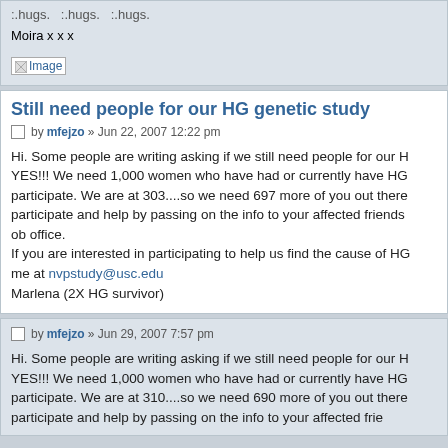:.hugs. :.hugs. :.hugs.
Moira x x x
[Figure (illustration): Small image placeholder labeled 'Image']
Still need people for our HG genetic study
by mfejzo » Jun 22, 2007 12:22 pm
Hi. Some people are writing asking if we still need people for our H... YES!!! We need 1,000 women who have had or currently have HG... participate. We are at 303....so we need 697 more of you out there... participate and help by passing on the info to your affected friends... ob office.
If you are interested in participating to help us find the cause of HG... me at nvpstudy@usc.edu
Marlena (2X HG survivor)
by mfejzo » Jun 29, 2007 7:57 pm
Hi. Some people are writing asking if we still need people for our H... YES!!! We need 1,000 women who have had or currently have HG... participate. We are at 310....so we need 690 more of you out there... participate and help by passing on the info to your affected frien...